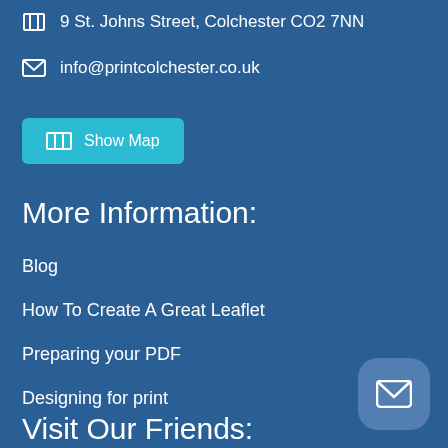9 St. Johns Street, Colchester CO2 7NN
info@printcolchester.co.uk
Show Map
More Information:
Blog
How To Create A Great Leaflet
Preparing your PDF
Designing for print
Privacy Policy
Terms & Conditions
Visit Our Friends: